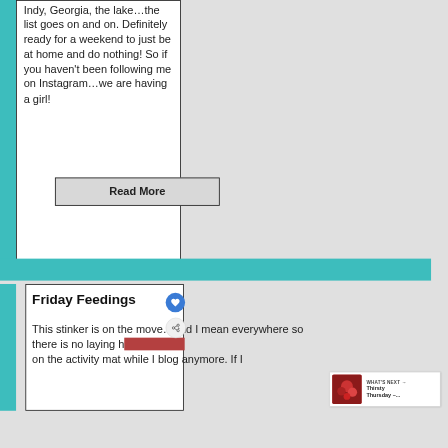Indy, Georgia, the lake…the list goes on and on. Definitely ready for a weekend to just be at home and do nothing! So if you haven't been following me on Instagram…we are having a girl!
Read More
Friday Feedings
This stinker is on the move…and I mean everywhere so there is no laying h… on the activity mat while I blog anymore. If I